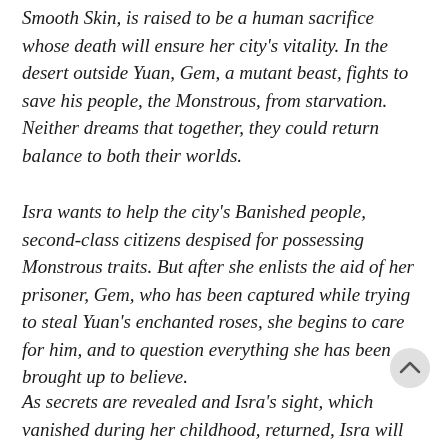Smooth Skin, is raised to be a human sacrifice whose death will ensure her city's vitality. In the desert outside Yuan, Gem, a mutant beast, fights to save his people, the Monstrous, from starvation. Neither dreams that together, they could return balance to both their worlds.
Isra wants to help the city's Banished people, second-class citizens despised for possessing Monstrous traits. But after she enlists the aid of her prisoner, Gem, who has been captured while trying to steal Yuan's enchanted roses, she begins to care for him, and to question everything she has been brought up to believe.
As secrets are revealed and Isra's sight, which vanished during her childhood, returned, Isra will